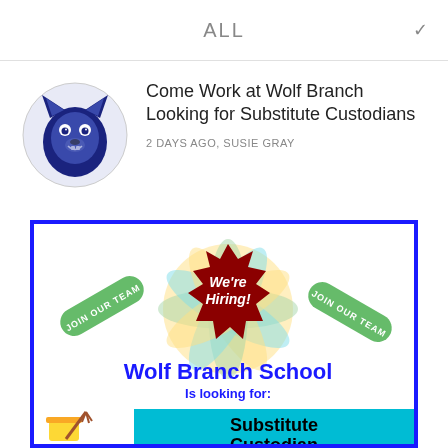ALL
Come Work at Wolf Branch Looking for Substitute Custodians
2 DAYS AGO, SUSIE GRAY
[Figure (infographic): We're Hiring flyer for Wolf Branch School looking for Substitute Custodian, with green 'JOIN OUR TEAM' badges and a cleaning mop/bucket illustration]